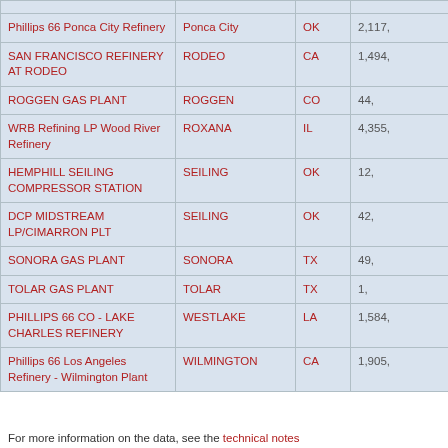| Facility Name | City | State | Value |
| --- | --- | --- | --- |
| Phillips 66 Ponca City Refinery | Ponca City | OK | 2,117, |
| SAN FRANCISCO REFINERY AT RODEO | RODEO | CA | 1,494, |
| ROGGEN GAS PLANT | ROGGEN | CO | 44, |
| WRB Refining LP Wood River Refinery | ROXANA | IL | 4,355, |
| HEMPHILL SEILING COMPRESSOR STATION | SEILING | OK | 12, |
| DCP MIDSTREAM LP/CIMARRON PLT | SEILING | OK | 42, |
| SONORA GAS PLANT | SONORA | TX | 49, |
| TOLAR GAS PLANT | TOLAR | TX | 1, |
| PHILLIPS 66 CO - LAKE CHARLES REFINERY | WESTLAKE | LA | 1,584, |
| Phillips 66 Los Angeles Refinery - Wilmington Plant | WILMINGTON | CA | 1,905, |
For more information on the data, see the technical notes.